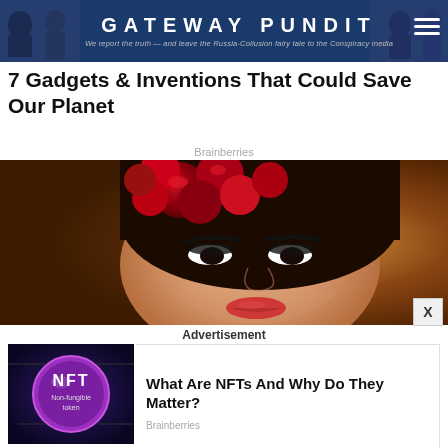GATEWAY PUNDIT — We report the truth — and leave the Russia-Collusion fairy tale to the Conspiracy media
7 Gadgets & Inventions That Could Save Our Planet
Brainberries
[Figure (photo): Close-up portrait of a woman with dark hair adorned with large red roses, wearing dramatic eye makeup and red lipstick]
Advertisement
[Figure (photo): NFT coin token advertisement image showing a coin labeled 'NFT Non-fungible token' on a digital circuit background]
What Are NFTs And Why Do They Matter?
Brainberries